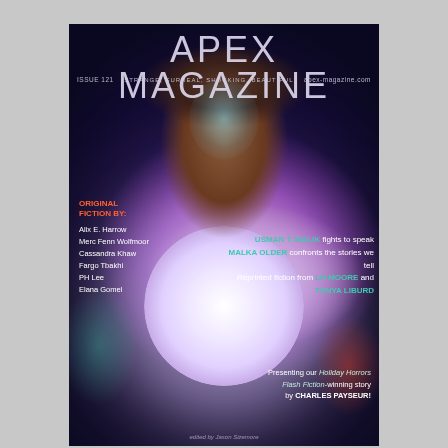[Figure (illustration): Magazine cover showing a woman with cosmic/space hair holding a glowing orb/moon, with teal and red smoke elements]
APEX MAGAZINE
ISSUE 121   STRANGE, SURREAL, SHOCKING, BEAUTIFUL   apex-magazine.com
ORIGINAL FICTION BY:
Alix E. Harrow
Merc Fenn Wolfmoor
Cassandra Khaw
Fargo Tbakhi
PH Lee
Elana Gomel
USMAN T. MALIK fights to speak
MALKA OLDER confronts the stories we tell
Reprinted fiction from LH MOORE and TONYA LIBURD
Presenting our Holiday Horrors Flash Fiction-winning story by CHARLES PAYSEUR!
edited by Jason Sizemore